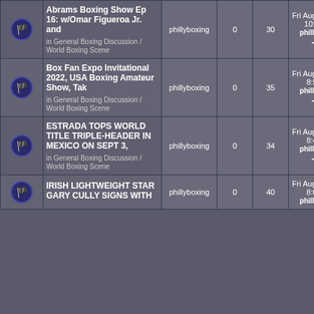|  | Topic | Author | Replies | Views | Last Post |
| --- | --- | --- | --- | --- | --- |
| [icon] | Abrams Boxing Show Ep 16: w/Omar Figueroa Jr. and
in General Boxing Discussion / World Boxing Scene | phillyboxing | 0 | 30 | Fri Aug 19, 2022 10:09 am phillyboxing |
| [icon] | Box Fan Expo Invitational 2022, USA Boxing Amateur Show, Tak
in General Boxing Discussion / World Boxing Scene | phillyboxing | 0 | 35 | Fri Aug 19, 2022 8:55 am phillyboxing |
| [icon] | ESTRADA TOPS WORLD TITLE TRIPLE-HEADER IN MEXICO ON SEPT 3,
in General Boxing Discussion / World Boxing Scene | phillyboxing | 0 | 34 | Fri Aug 19, 2022 8:49 am phillyboxing |
| [icon] | IRISH LIGHTWEIGHT STAR GARY CULLY SIGNS WITH | phillyboxing | 0 | 40 | Fri Aug 19, 2022 8:09 am phillyboxing |